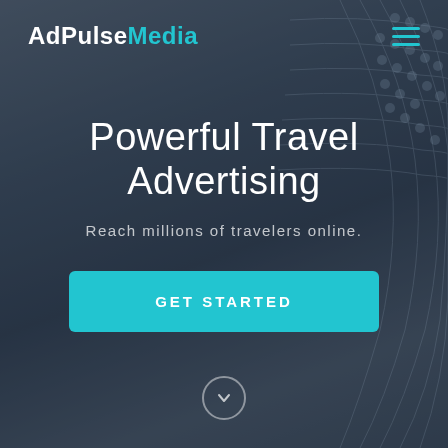[Figure (photo): Blurred dark blue-grey background resembling a globe or spherical structure with beads/ridges, serving as a hero background image]
AdPulseMedia
Powerful Travel Advertising
Reach millions of travelers online.
GET STARTED